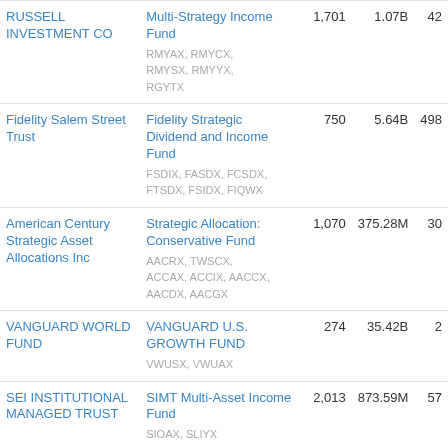| Trust | Fund | Col3 | Col4 | Col5 |
| --- | --- | --- | --- | --- |
| RUSSELL INVESTMENT CO | Multi-Strategy Income Fund
RMYAX, RMYCX, RMYSX, RMYYX, RGYTX | 1,701 | 1.07B | 42 |
| Fidelity Salem Street Trust | Fidelity Strategic Dividend and Income Fund
FSDIX, FASDX, FCSDX, FTSDX, FSIDX, FIQWX | 750 | 5.64B | 498 |
| American Century Strategic Asset Allocations Inc | Strategic Allocation: Conservative Fund
AACRX, TWSCX, ACCAX, ACCIX, AACCX, AACDX, AACGX | 1,070 | 375.28M | 30 |
| VANGUARD WORLD FUND | VANGUARD U.S. GROWTH FUND
VWUSX, VWUAX | 274 | 35.42B | 2 |
| SEI INSTITUTIONAL MANAGED TRUST | SIMT Multi-Asset Income Fund
SIOAX, SLIYX | 2,013 | 873.59M | 57 |
| JPMorgan Trust I | JPMorgan Diversified Fund
JDVSX, JPDVX, JDVAX | 1,621 | 934.51M | 55 |